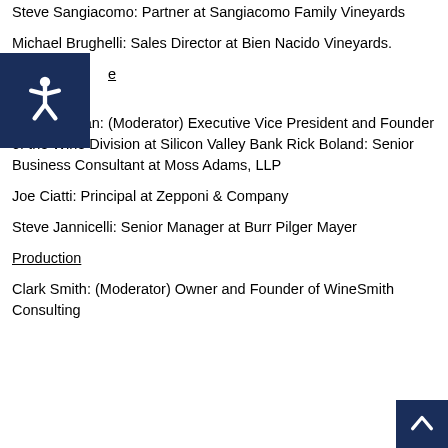Steve Sangiacomo: Partner at Sangiacomo Family Vineyards
Michael Brughelli: Sales Director at Bien Nacido Vineyards.
e
Rob McMillan: (Moderator) Executive Vice President and Founder of the Wine Division at Silicon Valley Bank Rick Boland: Senior Business Consultant at Moss Adams, LLP
Joe Ciatti: Principal at Zepponi & Company
Steve Jannicelli: Senior Manager at Burr Pilger Mayer
Production
Clark Smith: (Moderator) Owner and Founder of WineSmith Consulting